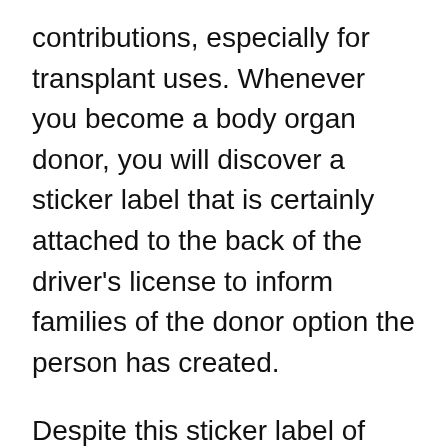contributions, especially for transplant uses. Whenever you become a body organ donor, you will discover a sticker label that is certainly attached to the back of the driver's license to inform families of the donor option the person has created.
Despite this sticker label of donor authorization, the family still must request this or the contribution might not exactly occur. In the event the deceased has not indicated contribution standing, a doctor could get authorization from the surviving relatives. Of course, the body organs must be without any